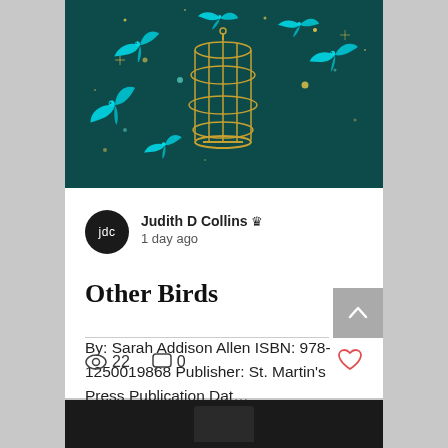[Figure (illustration): Book cover illustration showing cyan/turquoise birds flying out of a golden birdcage against a dark teal background with golden dots and sparkles]
jdc
Judith D Collins 👑
1 day ago
Other Birds
By: Sarah Addison Allen ISBN: 978-1250019868 Publisher: St. Martin's Press Publication Dat…
22
0